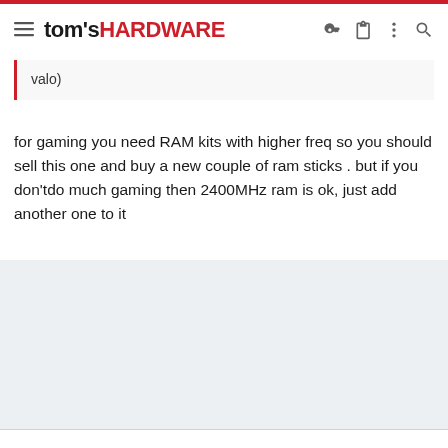tom's HARDWARE
valo)
for gaming you need RAM kits with higher freq so you should sell this one and buy a new couple of ram sticks . but if you don'tdo much gaming then 2400MHz ram is ok, just add another one to it